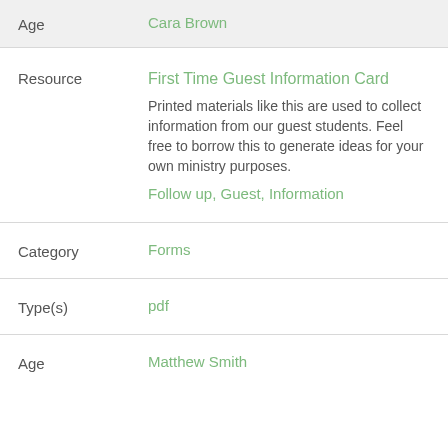| Field | Value |
| --- | --- |
| Age | Cara Brown |
| Resource | First Time Guest Information Card
Printed materials like this are used to collect information from our guest students. Feel free to borrow this to generate ideas for your own ministry purposes.
Follow up, Guest, Information |
| Category | Forms |
| Type(s) | pdf |
| Age | Matthew Smith |